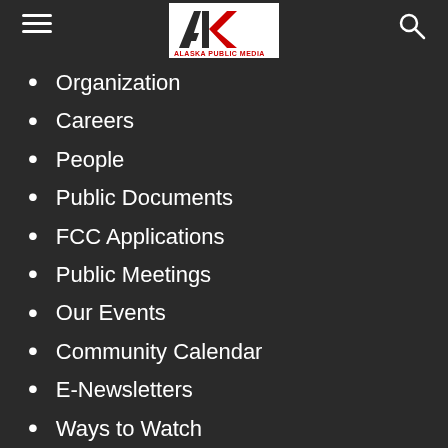Alaska Public Media navigation header
Organization
Careers
People
Public Documents
FCC Applications
Public Meetings
Our Events
Community Calendar
E-Newsletters
Ways to Watch
CONTRIBUTE
Donate Now